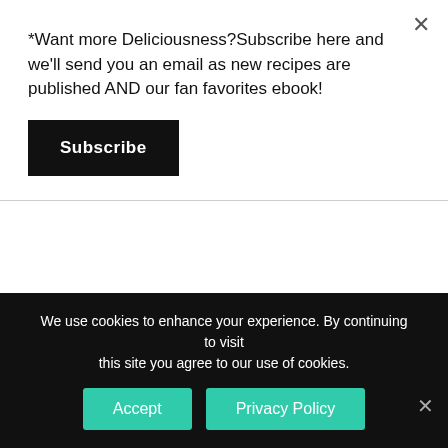*Want more Deliciousness?Subscribe here and we'll send you an email as new recipes are published AND our fan favorites ebook!
Subscribe
Transfer into a serving platter.
Step 10
Garnish with salad leaves, tomatoes and ring onions.Delicious Pan Chicken Tikka is ready to serve.
We use cookies to enhance your experience. By continuing to visit this site you agree to our use of cookies.
Accept
Privacy Policy